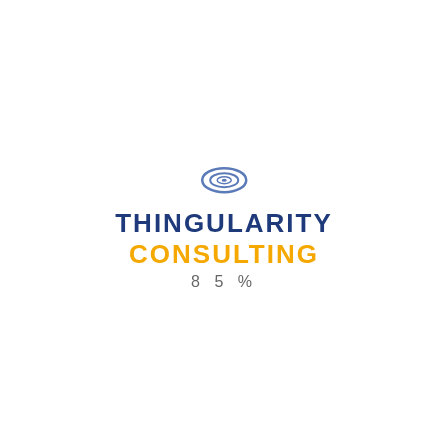[Figure (logo): Thingularity Consulting logo with a spiral/swirl icon above the company name in dark blue and gold/yellow text]
85%